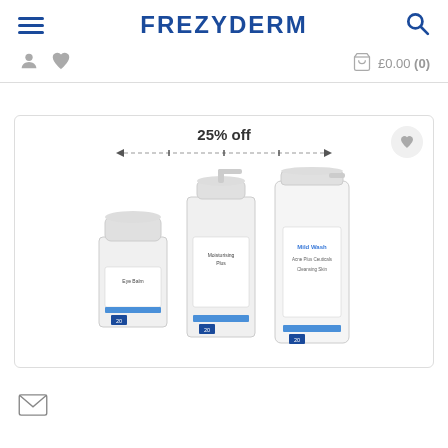FrezyDerm - Navigation header with hamburger menu, logo, search icon, user icon, heart icon, cart showing £0.00 (0)
[Figure (screenshot): FrezyDerm e-commerce product card showing three skincare products (Eye Balm, Moisturising Plus, Mild Wash) with 25% off badge]
Email/newsletter icon